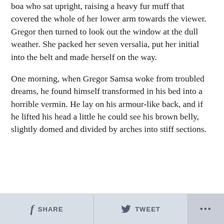boa who sat upright, raising a heavy fur muff that covered the whole of her lower arm towards the viewer. Gregor then turned to look out the window at the dull weather. She packed her seven versalia, put her initial into the belt and made herself on the way.
One morning, when Gregor Samsa woke from troubled dreams, he found himself transformed in his bed into a horrible vermin. He lay on his armour-like back, and if he lifted his head a little he could see his brown belly, slightly domed and divided by arches into stiff sections.
SHARE   TWEET   ...